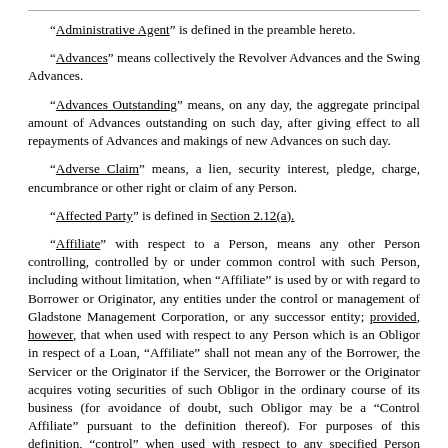“Administrative Agent” is defined in the preamble hereto.
“Advances” means collectively the Revolver Advances and the Swing Advances.
“Advances Outstanding” means, on any day, the aggregate principal amount of Advances outstanding on such day, after giving effect to all repayments of Advances and makings of new Advances on such day.
“Adverse Claim” means, a lien, security interest, pledge, charge, encumbrance or other right or claim of any Person.
“Affected Party” is defined in Section 2.12(a).
“Affiliate” with respect to a Person, means any other Person controlling, controlled by or under common control with such Person, including without limitation, when “Affiliate” is used by or with regard to Borrower or Originator, any entities under the control or management of Gladstone Management Corporation, or any successor entity; provided, however, that when used with respect to any Person which is an Obligor in respect of a Loan, “Affiliate” shall not mean any of the Borrower, the Servicer or the Originator if the Servicer, the Borrower or the Originator acquires voting securities of such Obligor in the ordinary course of its business (for avoidance of doubt, such Obligor may be a “Control Affiliate” pursuant to the definition thereof). For purposes of this definition, “control” when used with respect to any specified Person means the power to direct the management and policies of such Person, directly or